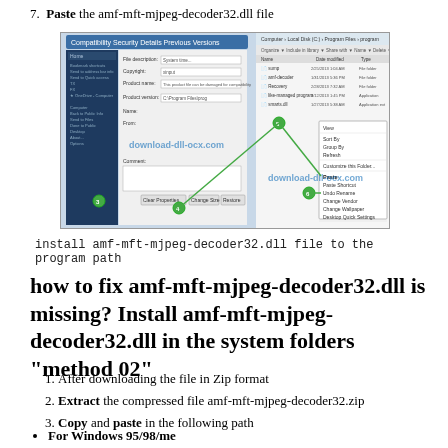7. Paste the amf-mft-mjpeg-decoder32.dll file
[Figure (screenshot): Screenshot showing Windows file manager and context menu for pasting the amf-mft-mjpeg-decoder32.dll file into a program directory, with download-dll-ocx.com watermark visible.]
install amf-mft-mjpeg-decoder32.dll file to the program path
how to fix amf-mft-mjpeg-decoder32.dll is missing? Install amf-mft-mjpeg-decoder32.dll in the system folders "method 02"
1. After downloading the file in Zip format
2. Extract the compressed file amf-mft-mjpeg-decoder32.zip
3. Copy and paste in the following path
• For Windows 95/98/me